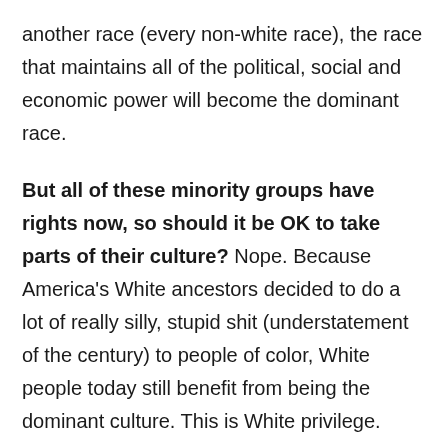another race (every non-white race), the race that maintains all of the political, social and economic power will become the dominant race.
But all of these minority groups have rights now, so should it be OK to take parts of their culture? Nope. Because America's White ancestors decided to do a lot of really silly, stupid shit (understatement of the century) to people of color, White people today still benefit from being the dominant culture. This is White privilege.